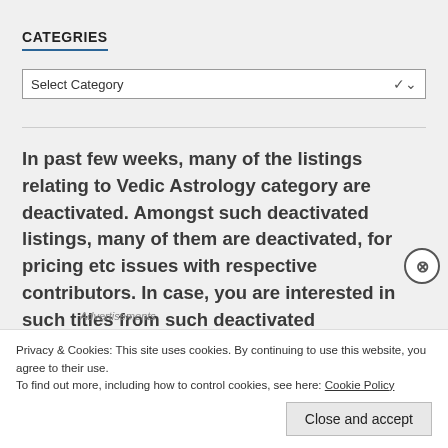CATEGRIES
Select Category
In past few weeks, many of the listings relating to Vedic Astrology category are deactivated. Amongst such deactivated listings, many of them are deactivated, for pricing etc issues with respective contributors. In case, you are interested in such titles from such deactivated
Advertisements
Privacy & Cookies: This site uses cookies. By continuing to use this website, you agree to their use.
To find out more, including how to control cookies, see here: Cookie Policy
Close and accept